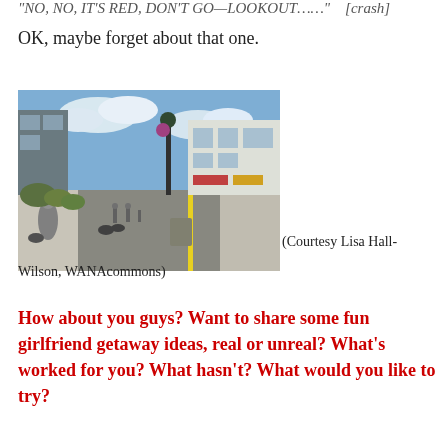“NO, NO, IT’S RED, DON’T GO—LOOKOUT……”    [crash]
OK, maybe forget about that one.
[Figure (photo): Street scene showing a pedestrian/bike street with shops on both sides, a lamp post with hanging flower basket, people walking and cycling, blue sky with clouds above.]
(Courtesy Lisa Hall-Wilson, WANAcommons)
How about you guys? Want to share some fun girlfriend getaway ideas, real or unreal? What’s worked for you? What hasn’t? What would you like to try?